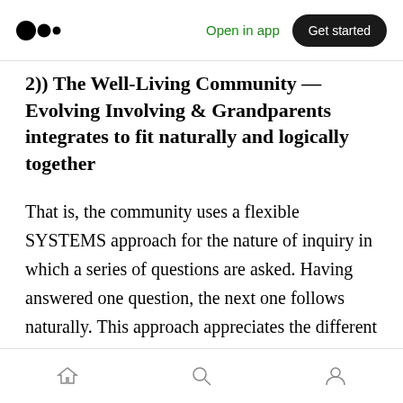Open in app  Get started
2)) The Well-Living Community — Evolving Involving & Grandparents integrates to fit naturally and logically together
That is, the community uses a flexible SYSTEMS approach for the nature of inquiry in which a series of questions are asked. Having answered one question, the next one follows naturally. This approach appreciates the different learning styles of the members (e.g., linear, intuitive, kinesthetic, and holistic thinkers) and therefore